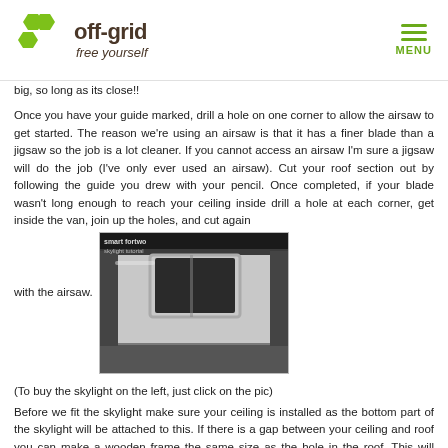off-grid free yourself | MENU
big, so long as its close!!
Once you have your guide marked, drill a hole on one corner to allow the airsaw to get started. The reason we're using an airsaw is that it has a finer blade than a jigsaw so the job is a lot cleaner. If you cannot access an airsaw I'm sure a jigsaw will do the job (I've only ever used an airsaw). Cut your roof section out by following the guide you drew with your pencil. Once completed, if your blade wasn't long enough to reach your ceiling inside drill a hole at each corner, get inside the van, join up the holes, and cut again with the airsaw.
[Figure (photo): Interior view of a vehicle ceiling/roof with a skylight installed, labeled 'smart fortwo skylight tutorial']
(To buy the skylight on the left, just click on the pic)
Before we fit the skylight make sure your ceiling is installed as the bottom part of the skylight will be attached to this. If there is a gap between your ceiling and roof you can make a wooden frame the same size as the hole in the roof. This will make the skylight stronger. If not make sure your insulation and ceiling are tight to the inside of the roof.